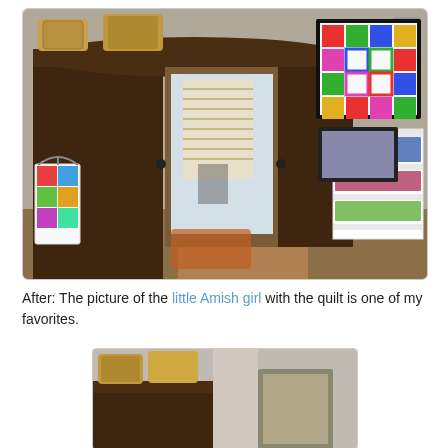[Figure (photo): Interior room photo showing a large dark wood armoire with a colorful quilt hanging on a hanger from the door, a white shelving unit with fabric and quilts, a framed colorful quilt block wall hanging, and another framed picture on the right wall.]
After: The picture of the little Amish girl with the quilt is one of my favorites.
[Figure (photo): Partial interior room photo showing top of dark wood armoire with wicker baskets, light grey walls, and a framed picture leaning against the wall.]